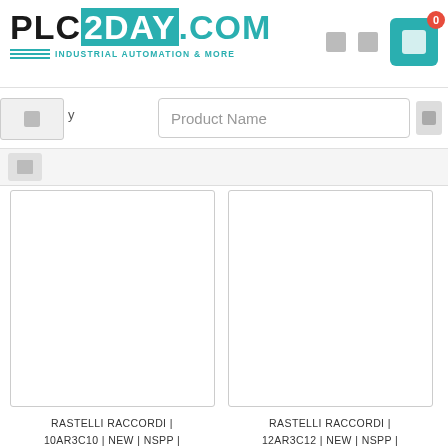[Figure (logo): PLC2DAY.COM logo with teal color scheme and tagline INDUSTRIAL AUTOMATION & MORE]
Product Name
RASTELLI RACCORDI | 10AR3C10 | NEW | NSPP |
RASTELLI RACCORDI | 12AR3C12 | NEW | NSPP |